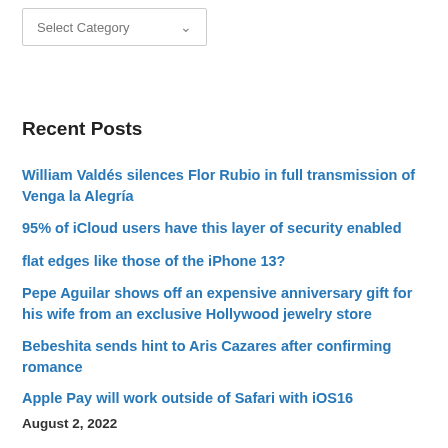[Figure (other): Select Category dropdown widget with border and chevron arrow]
Recent Posts
William Valdés silences Flor Rubio in full transmission of Venga la Alegría
95% of iCloud users have this layer of security enabled
flat edges like those of the iPhone 13?
Pepe Aguilar shows off an expensive anniversary gift for his wife from an exclusive Hollywood jewelry store
Bebeshita sends hint to Aris Cazares after confirming romance
Apple Pay will work outside of Safari with iOS16
August 2, 2022